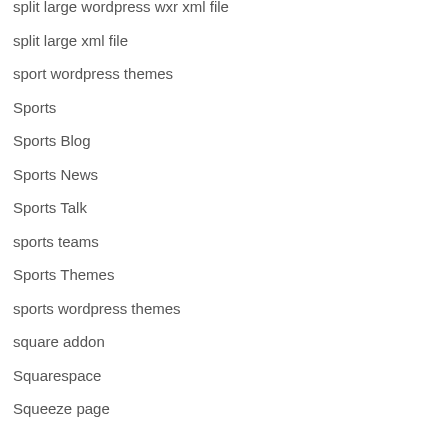split large wordpress wxr xml file
split large xml file
sport wordpress themes
Sports
Sports Blog
Sports News
Sports Talk
sports teams
Sports Themes
sports wordpress themes
square addon
Squarespace
Squeeze page